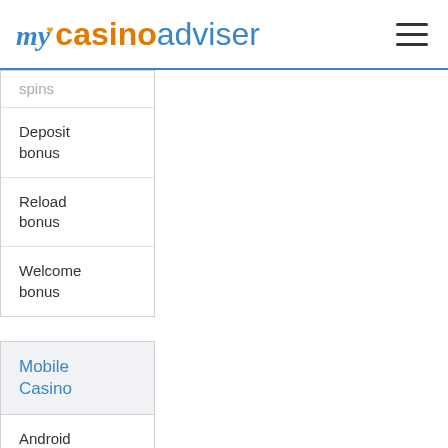my casino adviser
spins
Deposit bonus
Reload bonus
Welcome bonus
Mobile Casino
Android casinos